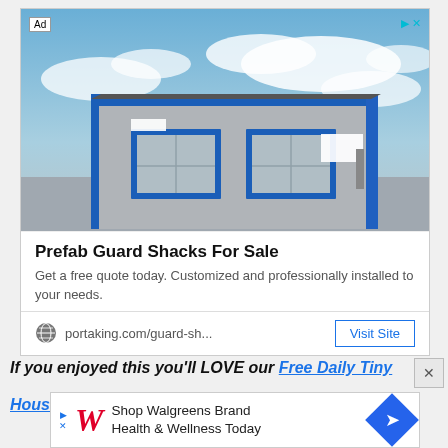[Figure (photo): Advertisement for Prefab Guard Shacks showing a modular building with gray walls, blue trim, two windows, against a blue sky with clouds. Includes 'Ad' label in top-left corner and navigation icons top-right.]
Prefab Guard Shacks For Sale
Get a free quote today. Customized and professionally installed to your needs.
portaking.com/guard-sh...
Visit Site
If you enjoyed this you'll LOVE our Free Daily Tiny
[Figure (infographic): Walgreens advertisement bar: Shop Walgreens Brand Health & Wellness Today with Walgreens cursive W logo and blue diamond arrow icon.]